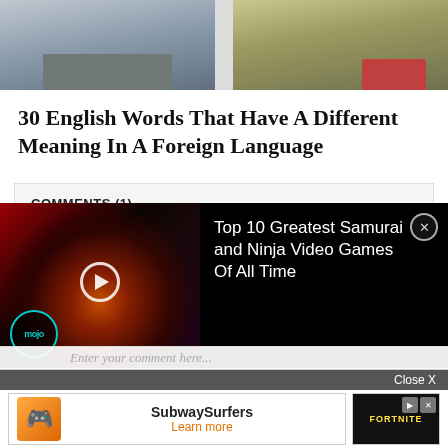[Figure (photo): Two road/highway photos side by side showing roads and a red car in distance]
30 English Words That Have A Different Meaning In A Foreign Language
COMMENTS (1)
ROYCE JUVINAL
REPLY
What are the sources for this article? Especially number 10...
[Figure (screenshot): Video overlay: Top 10 Greatest Samurai and Ninja Video Games Of All Time - WatchMojo video with play button and mojo badge]
[Figure (screenshot): Bottom advertisement bar with Close X button. SubwaySurfers - Learn more ad on left, Fortnite ad on right with play/close controls]